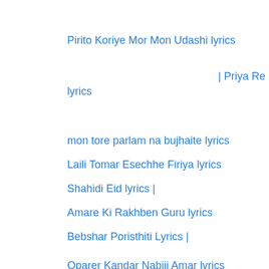Pirito Koriye Mor Mon Udashi lyrics
| Priya Re lyrics
mon tore parlam na bujhaite lyrics
Laili Tomar Esechhe Firiya lyrics
Shahidi Eid lyrics |
Amare Ki Rakhben Guru lyrics
Bebshar Poristhiti Lyrics |
Oparer Kandar Nabiji Amar lyrics
Tumi Banglar Dhrubotara lyrics